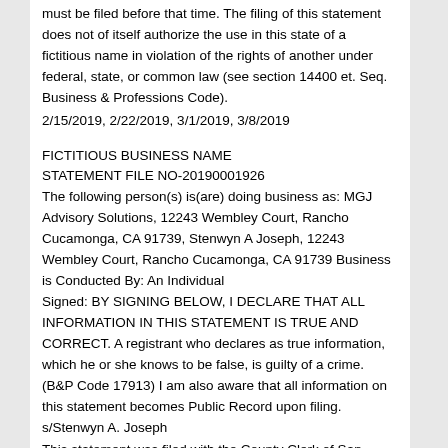must be filed before that time. The filing of this statement does not of itself authorize the use in this state of a fictitious name in violation of the rights of another under federal, state, or common law (see section 14400 et. Seq. Business & Professions Code).
2/15/2019, 2/22/2019, 3/1/2019, 3/8/2019
FICTITIOUS BUSINESS NAME
STATEMENT FILE NO-20190001926
The following person(s) is(are) doing business as: MGJ Advisory Solutions, 12243 Wembley Court, Rancho Cucamonga, CA 91739, Stenwyn A Joseph, 12243 Wembley Court, Rancho Cucamonga, CA 91739 Business is Conducted By: An Individual Signed: BY SIGNING BELOW, I DECLARE THAT ALL INFORMATION IN THIS STATEMENT IS TRUE AND CORRECT. A registrant who declares as true information, which he or she knows to be false, is guilty of a crime. (B&P Code 17913) I am also aware that all information on this statement becomes Public Record upon filing. s/Stenwyn A. Joseph
This statement was filed with the County Clerk of San